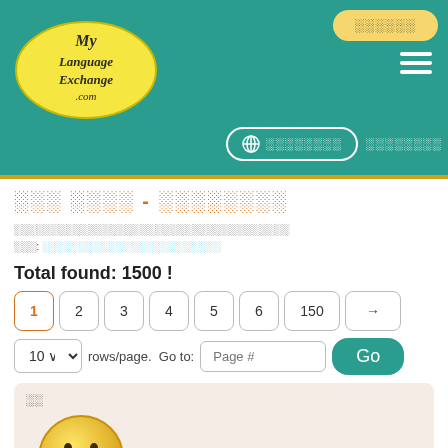[Figure (screenshot): MyLanguageExchange.com website header with teal background, yellow oval logo, hamburger menu, globe navigation button, and login/register buttons]
░░░ ░░░░ - ░░░░░░░░
░░░░░░░░░░░░░░░░░░░░░░░░░░░░░░░░░░░░░
░░░: ░░░░░░░░░░░░░░░░░░░░░░
Total found: 1500 !
Pagination: 1 2 3 4 5 6 150 →
10 rows/page. Go to: Page # Go
░░
[Figure (illustration): Yellow smiley face circle image with text 'Waiting for picture' below it]
Peter